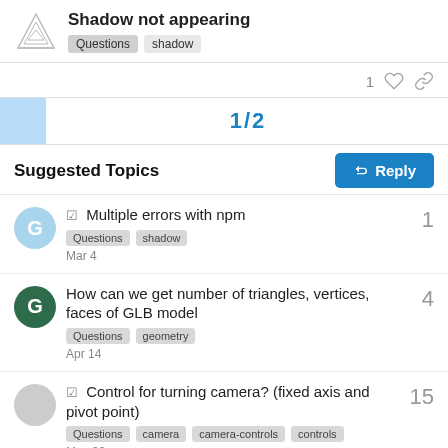Shadow not appearing | Questions | shadow
1 [like] [link]
1 / 2
Reply
Suggested Topics
✓ Multiple errors with npm | Questions | shadow | Mar 4 | 1
How can we get number of triangles, vertices, faces of GLB model | Questions | geometry | Apr 14 | 4
✓ Control for turning camera? (fixed axis and pivot point) | Questions | camera | camera-controls | controls | May 20 | 15